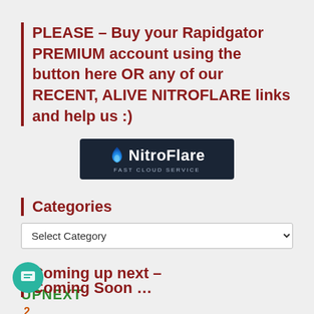PLEASE – Buy your Rapidgator PREMIUM account using the button here OR any of our RECENT, ALIVE NITROFLARE links and help us :)
[Figure (logo): NitroFlare Fast Cloud Service logo on dark navy background with blue flame icon]
Categories
Select Category
Coming up next –
UPNEXT
2
Coming Soon …